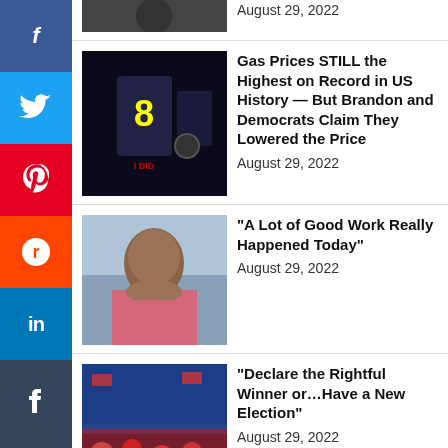[Figure (other): Partial thumbnail of top article cropped at top]
August 29, 2022
[Figure (photo): Photo of politician with gas price signage]
Gas Prices STILL the Highest on Record in US History — But Brandon and Democrats Claim They Lowered the Price
August 29, 2022
[Figure (photo): Photo of Kamala Harris speaking]
“A Lot of Good Work Really Happened Today”
August 29, 2022
[Figure (photo): Photo of rally crowd]
“Declare the Rightful Winner or…Have a New Election”
August 29, 2022